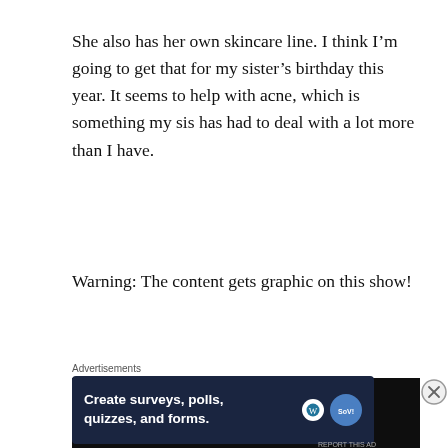She also has her own skincare line. I think I’m going to get that for my sister’s birthday this year. It seems to help with acne, which is something my sis has had to deal with a lot more than I have.
Warning: The content gets graphic on this show!
[Figure (screenshot): Dark video player showing text: This video is age-restricted and only]
Advertisements
[Figure (screenshot): Advertisement banner: Create surveys, polls, quizzes, and forms. with WordPress and SurveyMonkey logos]